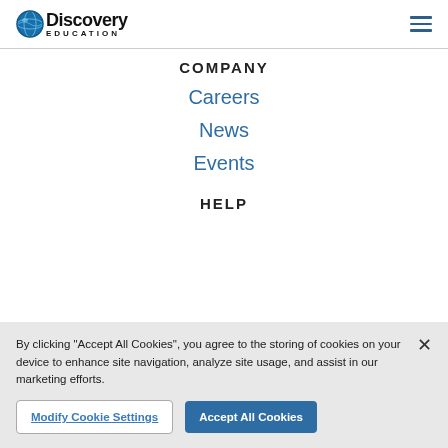Discovery Education
COMPANY
Careers
News
Events
HELP
By clicking "Accept All Cookies", you agree to the storing of cookies on your device to enhance site navigation, analyze site usage, and assist in our marketing efforts.
Modify Cookie Settings
Accept All Cookies